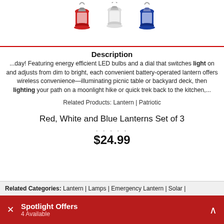[Figure (photo): Three decorative lanterns in red, white, and blue colors, shown from above on a white background.]
Description
...day! Featuring energy efficient LED bulbs and a dial that switches light on and adjusts from dim to bright, each convenient battery-operated lantern offers wireless convenience—illuminating picnic table or backyard deck, then lighting your path on a moonlight hike or quick trek back to the kitchen,...
Related Products: Lantern | Patriotic
Red, White and Blue Lanterns Set of 3
$24.99
Related Categories: Lantern | Lamps | Emergency Lantern | Solar |
Spotlight Offers
4 Available